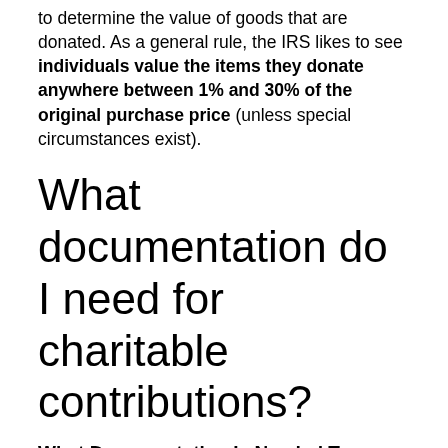to determine the value of goods that are donated. As a general rule, the IRS likes to see individuals value the items they donate anywhere between 1% and 30% of the original purchase price (unless special circumstances exist).
What documentation do I need for charitable contributions?
What Documentation Is Needed To Deduct Charitable Donations?
A bank statement or cancelled check.
Payroll deduction records.
A written communication from the charity that includes the name of the